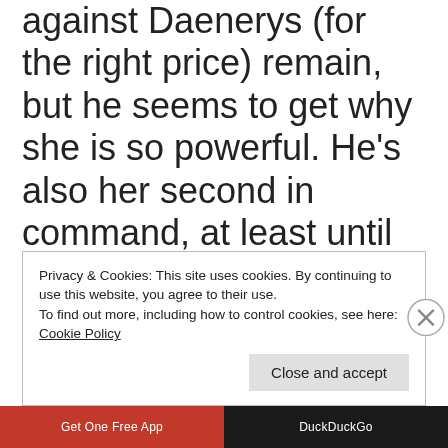against Daenerys (for the right price) remain, but he seems to get why she is so powerful. He's also her second in command, at least until she reaches Meereen. If he's smart, he stays on the winning side here. I think he's incredibly smart, so that shouldn't be a problem.
Privacy & Cookies: This site uses cookies. By continuing to use this website, you agree to their use. To find out more, including how to control cookies, see here: Cookie Policy
Close and accept
Get One Free App   DuckDuckGo